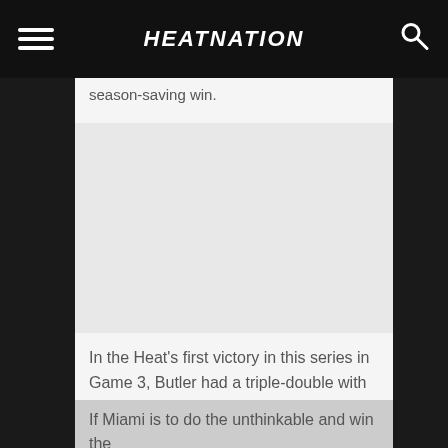HEATNATION
season-saving win.
[Figure (photo): Image placeholder area (photo content not visible)]
In the Heat's first victory in this series in Game 3, Butler had a triple-double with 40 points, 13 rebounds, 11 assists.
If Miami is to do the unthinkable and win the